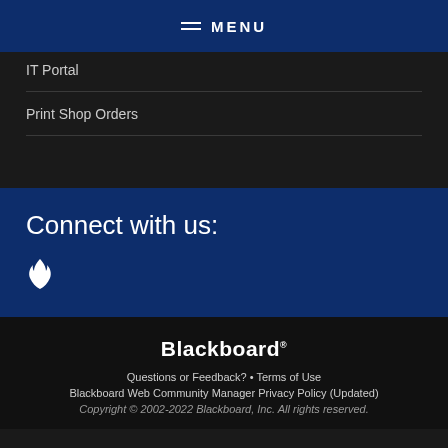MENU
IT Portal
Print Shop Orders
Connect with us:
[Figure (illustration): White flame/torch social media icon]
Blackboard
Questions or Feedback?  •  Terms of Use
Blackboard Web Community Manager Privacy Policy (Updated)
Copyright © 2002-2022 Blackboard, Inc. All rights reserved.